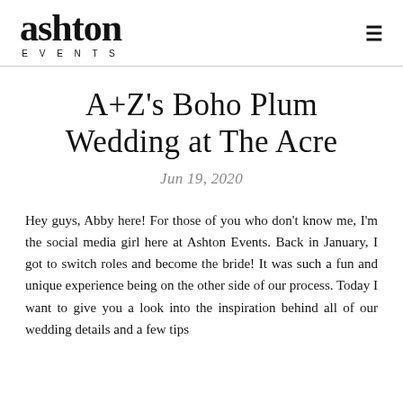[Figure (logo): Ashton Events logo with handwritten script 'ashton' above spaced-out 'EVENTS' text]
A+Z's Boho Plum Wedding at The Acre
Jun 19, 2020
Hey guys, Abby here! For those of you who don't know me, I'm the social media girl here at Ashton Events. Back in January, I got to switch roles and become the bride! It was such a fun and unique experience being on the other side of our process. Today I want to give you a look into the inspiration behind all of our wedding details and a few tips